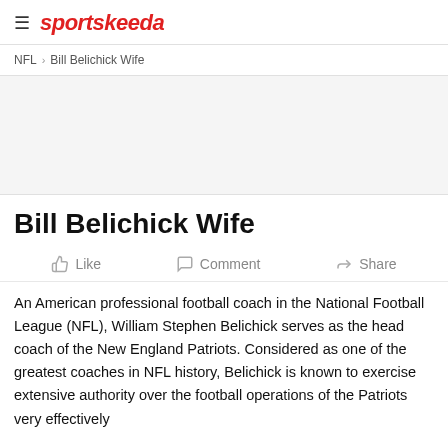sportskeeda
NFL > Bill Belichick Wife
[Figure (other): Advertisement banner placeholder area]
Bill Belichick Wife
Like   Comment   Share
An American professional football coach in the National Football League (NFL), William Stephen Belichick serves as the head coach of the New England Patriots. Considered as one of the greatest coaches in NFL history, Belichick is known to exercise extensive authority over the football operations of the Patriots very effectively